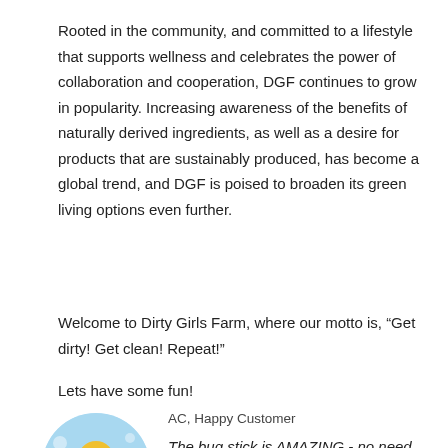Rooted in the community, and committed to a lifestyle that supports wellness and celebrates the power of collaboration and cooperation, DGF continues to grow in popularity. Increasing awareness of the benefits of naturally derived ingredients, as well as a desire for products that are sustainably produced, has become a global trend, and DGF is poised to broaden its green living options even further.
Welcome to Dirty Girls Farm, where our motto is, “Get dirty! Get clean! Repeat!”
Lets have some fun!
[Figure (illustration): Circular avatar illustration of a cartoon yellow chick/bird character on a light blue bubble background]
AC, Happy Customer
The bug stick is AMAZING - no need for messy hands! Ahhh... makes my life just that bit easier